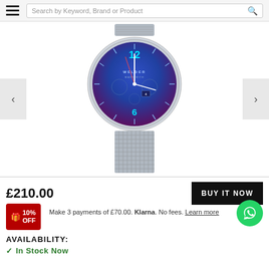Search by Keyword, Brand or Product
[Figure (photo): A Welder brand chronograph watch with blue/purple gradient dial face showing luminous cyan numerals 12 and 6, silver case with pushers, and silver mesh bracelet strap.]
£210.00
BUY IT NOW
10% OFF
Make 3 payments of £70.00. Klarna. No fees. Learn more
AVAILABILITY:
In Stock Now